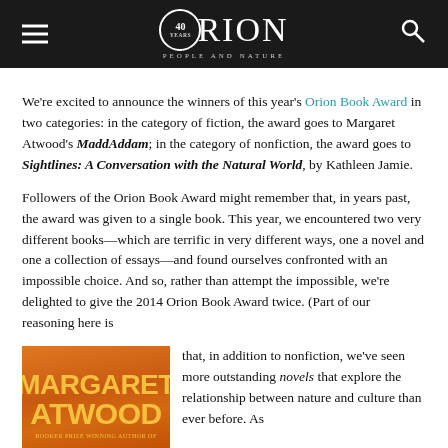ORION PEOPLE AND NATURE
We’re excited to announce the winners of this year’s Orion Book Award in two categories: in the category of fiction, the award goes to Margaret Atwood’s MaddAddam; in the category of nonfiction, the award goes to Sightlines: A Conversation with the Natural World, by Kathleen Jamie.
Followers of the Orion Book Award might remember that, in years past, the award was given to a single book. This year, we encountered two very different books—which are terrific in very different ways, one a novel and one a collection of essays—and found ourselves confronted with an impossible choice. And so, rather than attempt the impossible, we’re delighted to give the 2014 Orion Book Award twice. (Part of our reasoning here is that, in addition to nonfiction, we’ve seen more outstanding novels that explore the relationship between nature and culture than ever before. As
[Figure (photo): Book cover showing Margaret Atwood name in large yellow capital letters on an orange/rust background]